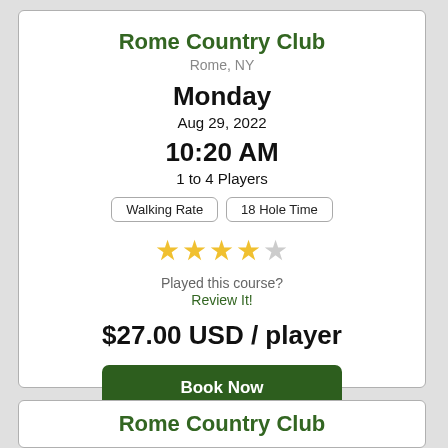Rome Country Club
Rome, NY
Monday
Aug 29, 2022
10:20 AM
1 to 4 Players
Walking Rate | 18 Hole Time
[Figure (other): 4 out of 5 star rating shown as gold stars]
Played this course? Review It!
$27.00 USD / player
Book Now
Rome Country Club